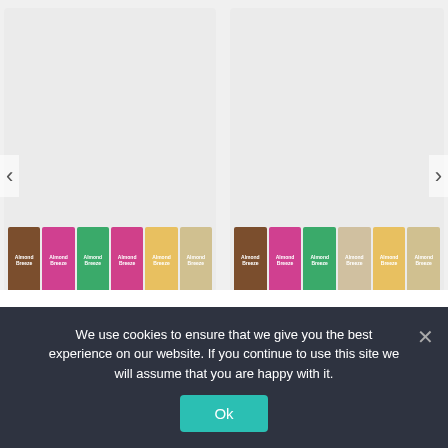[Figure (photo): Two product cards showing rows of Almond Breeze almond milk cartons in various flavors on a light grey background]
We use cookies on our website to give you the most relevant experience by remembering your preferences and repeat visits. By clicking “Accept”, you consent to the use of ALL the cookies.
COOKIE SETTINGS
ACCEPT COOKIES
We use cookies to ensure that we give you the best experience on our website. If you continue to use this site we will assume that you are happy with it.
Ok